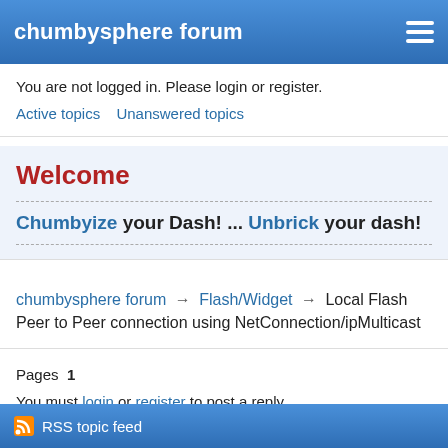chumbysphere forum
You are not logged in. Please login or register.
Active topics   Unanswered topics
Welcome
Chumbyize your Dash! ... Unbrick your dash!
chumbysphere forum → Flash/Widget → Local Flash Peer to Peer connection using NetConnection/ipMulticast
Pages  1
You must login or register to post a reply
RSS topic feed